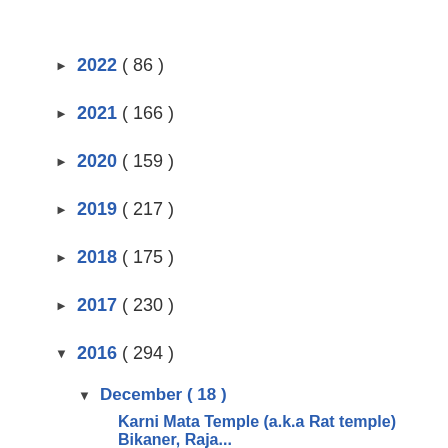► 2022 ( 86 )
► 2021 ( 166 )
► 2020 ( 159 )
► 2019 ( 217 )
► 2018 ( 175 )
► 2017 ( 230 )
▼ 2016 ( 294 )
▼ December ( 18 )
Karni Mata Temple (a.k.a Rat temple) Bikaner, Raja...
Maruti's Vitara Brezza wins ICOTY 2017
How to beat the January Car Price Hike ghost!
My Notes from "How to travel the world on budget" ...
The ethics of sponsored posts and how to deal with...
Surviving a credit card fraud- my experience